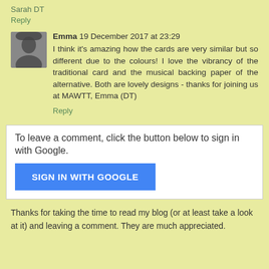Sarah DT
Reply
Emma 19 December 2017 at 23:29
I think it's amazing how the cards are very similar but so different due to the colours! I love the vibrancy of the traditional card and the musical backing paper of the alternative. Both are lovely designs - thanks for joining us at MAWTT, Emma (DT)
Reply
To leave a comment, click the button below to sign in with Google.
SIGN IN WITH GOOGLE
Thanks for taking the time to read my blog (or at least take a look at it) and leaving a comment. They are much appreciated.